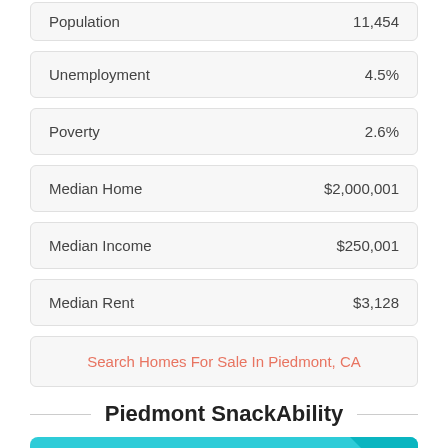| Metric | Value |
| --- | --- |
| Population | 11,454 |
| Unemployment | 4.5% |
| Poverty | 2.6% |
| Median Home | $2,000,001 |
| Median Income | $250,001 |
| Median Rent | $3,128 |
Search Homes For Sale In Piedmont, CA
Piedmont SnackAbility
[Figure (screenshot): Teal/cyan colored banner image for Piedmont SnackAbility section with a white box at the bottom center and a darker teal triangle in the upper right corner]